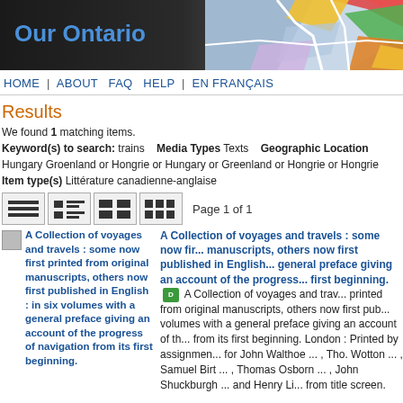[Figure (screenshot): Our Ontario website header with logo text and colorful map graphic]
HOME | ABOUT FAQ HELP | EN FRANÇAIS
Results
We found 1 matching items.
Keyword(s) to search: trains   Media Types Texts   Geographic Location Hungary Groenland or Hongrie or Hungary or Greenland or Hongrie or Hongrie   Item type(s) Littérature canadienne-anglaise
[Figure (screenshot): View toggle buttons (list views) and Page 1 of 1 label]
A Collection of voyages and travels : some now first printed from original manuscripts, others now first published in English : in six volumes with a general preface giving an account of the progress of navigation from its first beginning. [PDF icon] A Collection of voyages and travels some now first printed from original manuscripts, others now first published in volumes with a general preface giving an account of the progress from its first beginning. London : Printed by assignment for John Walthoe ... , Tho. Wotton ... , Samuel Birt ... , Thomas Osborn ... , John Shuckburgh ... and Henry Li... from title screen.